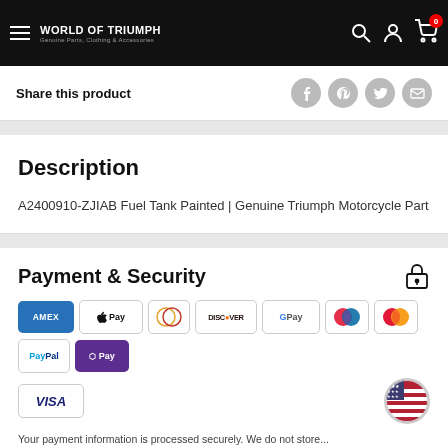WORLD OF TRIUMPH — Genuine Parts, Clothing & Accessories
Share this product
Description
A2400910-ZJIAB Fuel Tank Painted | Genuine Triumph Motorcycle Part
Payment & Security
[Figure (other): Payment method logos: Amex, Apple Pay, Diners, Discover, Google Pay, Maestro, Mastercard, PayPal, OPay, Visa]
Your payment information is processed securely. We do not store credit card details nor have access to your credit card information.